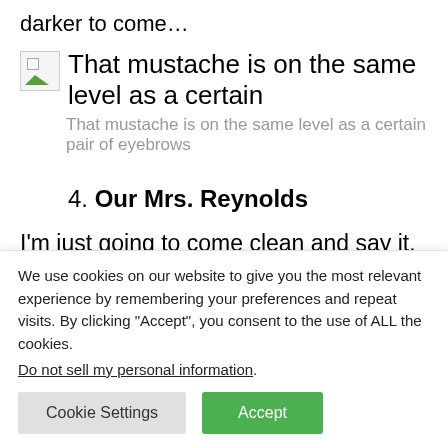darker to come…
[Figure (photo): Broken image placeholder icon with overlapping text: 'That mustache is on the same level as a certain pair of eyebrows']
That mustache is on the same level as a certain pair of eyebrows
4. Our Mrs. Reynolds
I'm just going to come clean and say it. This episode is on
We use cookies on our website to give you the most relevant experience by remembering your preferences and repeat visits. By clicking "Accept", you consent to the use of ALL the cookies.
Do not sell my personal information.